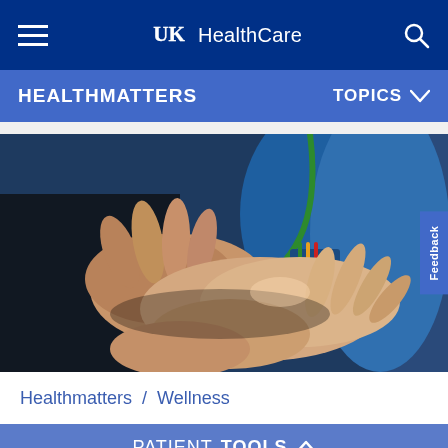UK HealthCare
HEALTHMATTERS    TOPICS
[Figure (photo): Close-up photo of a healthcare professional in blue scrubs examining or massaging a patient's hand, with a colorful lanyard visible around the provider's neck.]
Healthmatters / Wellness
PATIENT TOOLS